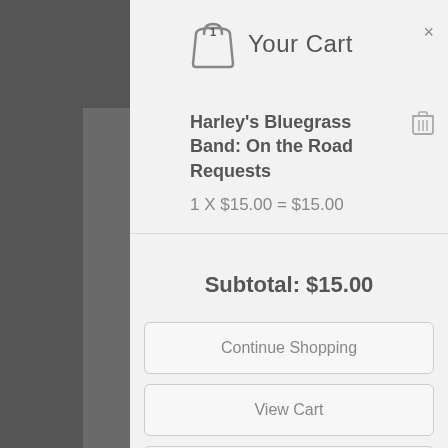Your Cart
Harley's Bluegrass Band: On the Road Requests
1 X $15.00 = $15.00
Subtotal: $15.00
Continue Shopping
View Cart
Checkout